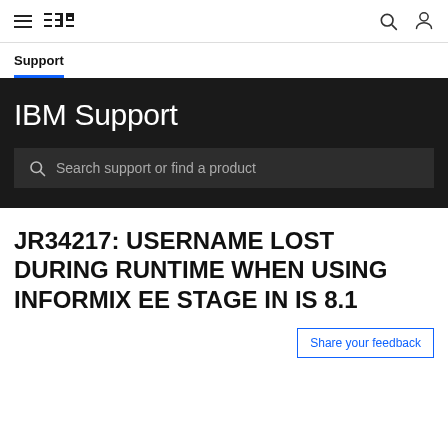IBM Support — navigation bar with hamburger menu, IBM logo, search icon, user icon
Support
IBM Support
Search support or find a product
JR34217: USERNAME LOST DURING RUNTIME WHEN USING INFORMIX EE STAGE IN IS 8.1
Share your feedback